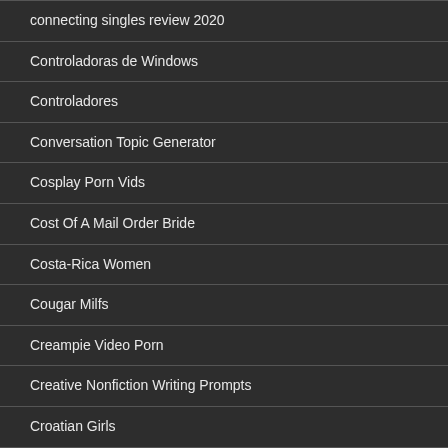connecting singles review 2020
Controladoras de Windows
Controladores
Conversation Topic Generator
Cosplay Porn Vids
Cost Of A Mail Order Bride
Costa-Rica Women
Cougar Milfs
Creampie Video Porn
Creative Nonfiction Writing Prompts
Croatian Girls